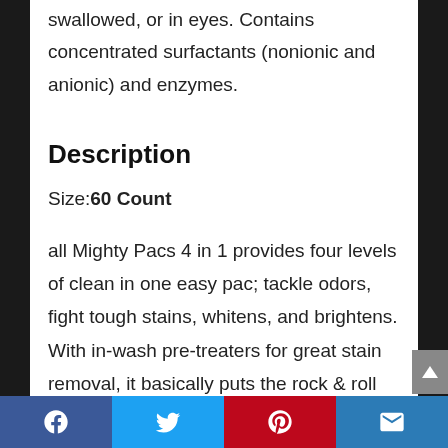swallowed, or in eyes. Contains concentrated surfactants (nonionic and anionic) and enzymes.
Description
Size: 60 Count
all Mighty Pacs 4 in 1 provides four levels of clean in one easy pac; tackle odors, fight tough stains, whitens, and brightens. With in-wash pre-treaters for great stain removal, it basically puts the rock & roll back in your washing machine. You name it, all Mighty
Facebook | Twitter | Pinterest | Email